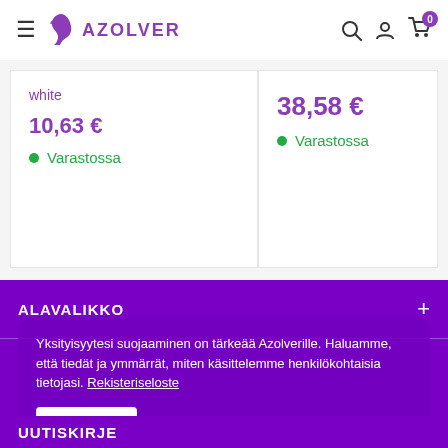[Figure (logo): Azolver brand logo with purple horse/swan icon and AZOLVER text in purple]
white
10,63 €
Varastossa
38,58 €
Varastossa
ALAVALIKKO
Yksityisyytesi suojaaminen on tärkeää Azolverille. Haluamme, että tiedät ja ymmärrät, miten käsittelemme henkilökohtaisia tietojasi. Rekisteriseloste
Hyväksy
UUTISKIRJE